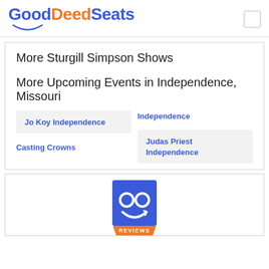GoodDeedSeats
More Sturgill Simpson Shows
More Upcoming Events in Independence, Missouri
Jo Koy Independence
Independence
Casting Crowns
Judas Priest Independence
[Figure (logo): GoodDeedSeats reviews badge with smiley face logo and orange REVIEWS ribbon]